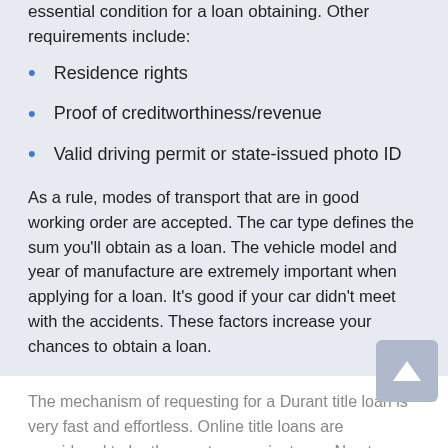essential condition for a loan obtaining. Other requirements include:
Residence rights
Proof of creditworthiness/revenue
Valid driving permit or state-issued photo ID
As a rule, modes of transport that are in good working order are accepted. The car type defines the sum you'll obtain as a loan. The vehicle model and year of manufacture are extremely important when applying for a loan. It's good if your car didn't meet with the accidents. These factors increase your chances to obtain a loan.
The mechanism of requesting for a Durant title loan is very fast and effortless. Online title loans are considered to be the most convenient way. No store visit and no phone calls are needed when you are requesting for title loans online. After your papers have been approved and your loan has been confirmed, the funds are credited to your account.
Apply Now
Applying does NOT affect your credit score!
No credit check to apply.